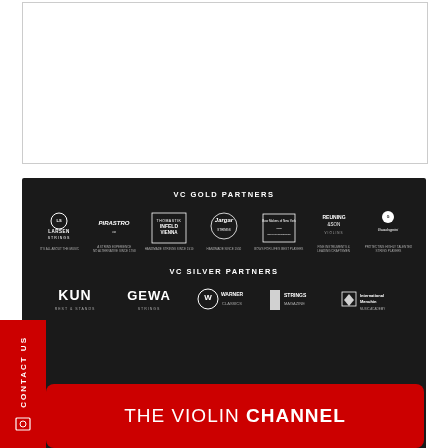[Figure (illustration): Top white bordered box area, empty content region]
VC GOLD PARTNERS
[Figure (logo): Larsen Strings logo]
[Figure (logo): Pirastro logo]
[Figure (logo): Infeld Vienna logo]
[Figure (logo): Jargar logo]
[Figure (logo): Bow maker of New York logo]
[Figure (logo): Reuning & Son Violins logo]
[Figure (logo): Guadagnini logo]
VC SILVER PARTNERS
[Figure (logo): Kun Rest & Stands logo]
[Figure (logo): GEWA Strings logo]
[Figure (logo): Warner Classics logo]
[Figure (logo): Strings Magazine logo]
[Figure (logo): International Menuhin Music Academy logo]
CONTACT US
[Figure (logo): The Violin Channel red banner logo]